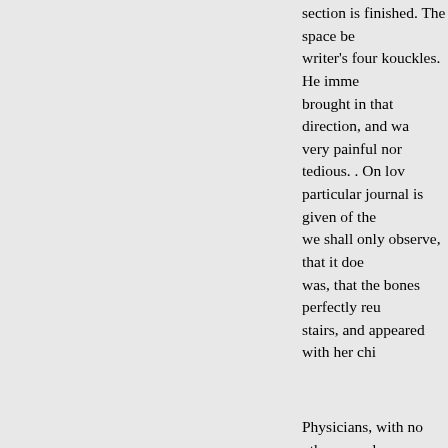section is finished. The space be writer's four kouckles. He imme brought in that direction, and wa very painful nor tedious. . On lov particular journal is given of the we shall only observe, that it doe was, that the bones perfectly reu stairs, and appeared with her chi
Physicians, with no other compla better. Since the publication of th St. Paul de Leon in Britany, and
For several objections made to pamphlet, without attempting to minds of our Readers on this cur
RELIGIOUS and CONTROVER
moral State of its inhabitants, the Conquest, are confidered: In a Se Instruction of Youth. By John Ma
Calculated to convey, both to yo